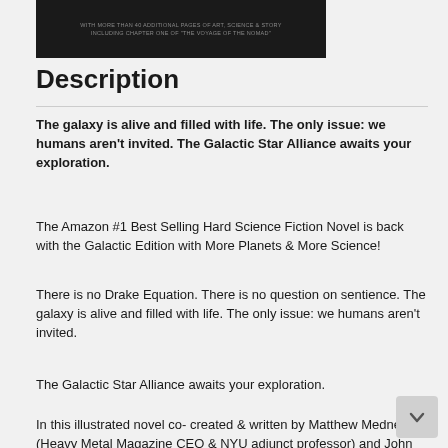[Figure (illustration): Dark book cover image with small text reading 'WITH MORE THAN 40 ADDITIONAL PAGES OF ART, SCIENCE & STORY INCLUDING CHAPTER ONE OF "THE VOYAGE OF THE NOMAD"']
Description
The galaxy is alive and filled with life. The only issue: we humans aren't invited. The Galactic Star Alliance awaits your exploration.
The Amazon #1 Best Selling Hard Science Fiction Novel is back with the Galactic Edition with More Planets & More Science!
There is no Drake Equation. There is no question on sentience. The galaxy is alive and filled with life. The only issue: we humans aren't invited.
The Galactic Star Alliance awaits your exploration.
In this illustrated novel co- created & written by Matthew Medney (Heavy Metal Magazine CEO & NYU adjunct professor) and John Connolly (Lockheed Martin Aerospace Engineer), humankind